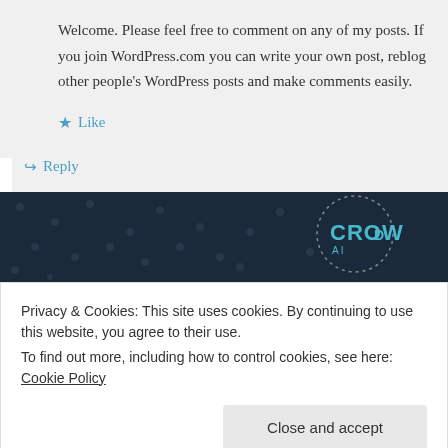Welcome. Please feel free to comment on any of my posts. If you join WordPress.com you can write your own post, reblog other people's WordPress posts and make comments easily.
★ Like
↪ Reply
[Figure (other): Dark navy advertisement banner with dotted pattern and CROWD logo text in teal on the right side]
Privacy & Cookies: This site uses cookies. By continuing to use this website, you agree to their use.
To find out more, including how to control cookies, see here: Cookie Policy